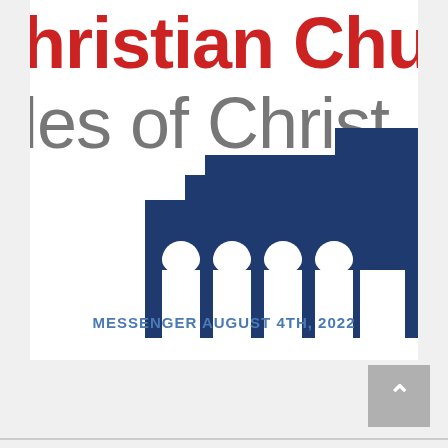[Figure (logo): Christian Church Disciples of Christ logo with a stylized church building in dark navy blue with arched windows, red text reading 'Christian Church' partially visible at top, gray text 'les of Christ' below, and blue text 'MESSENGER AUGUST 4TH, 2022' at bottom]